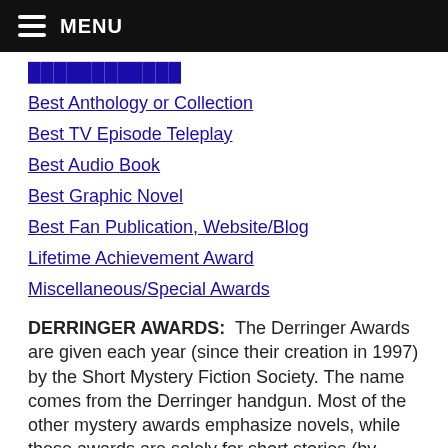MENU
Best Anthology or Collection
Best TV Episode Teleplay
Best Audio Book
Best Graphic Novel
Best Fan Publication, Website/Blog
Lifetime Achievement Award
Miscellaneous/Special Awards
DERRINGER AWARDS:  The Derringer Awards are given each year (since their creation in 1997) by the Short Mystery Fiction Society. The name comes from the Derringer handgun. Most of the other mystery awards emphasize novels, while these awards are solely for short stories (by definition, the